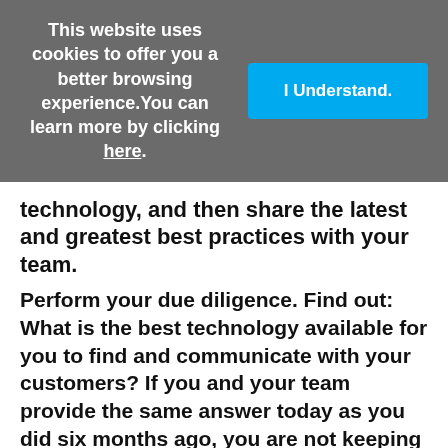This website uses cookies to offer you a better browsing experience. You can learn more by clicking here.
I Understand.
technology, and then share the latest and greatest best practices with your team.
Perform your due diligence. Find out: What is the best technology available for you to find and communicate with your customers? If you and your team provide the same answer today as you did six months ago, you are not keeping up with the market or the competition. I'll share just one example: there are tools now available from Vidyard that allow you to send unique video messages to prospective buyers. This tool has resulted in a tenfold increase in prospecting efficiency for